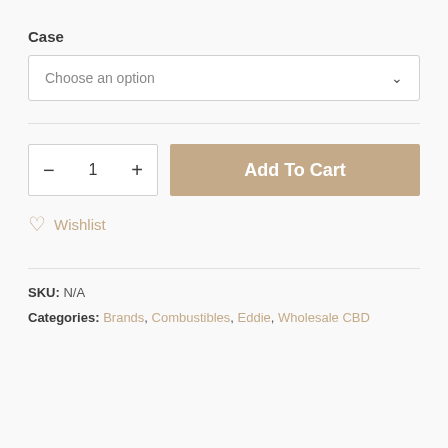Case
[Figure (screenshot): Dropdown select box with placeholder text 'Choose an option' and a chevron down arrow on the right]
[Figure (screenshot): Quantity selector with minus button, number 1, and plus button; and an 'Add To Cart' button in tan/gold color]
♡ Wishlist
SKU: N/A
Categories: Brands, Combustibles, Eddie, Wholesale CBD